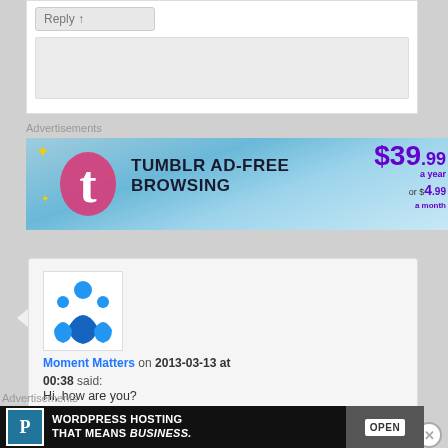[Figure (screenshot): Reply button UI element at top of page]
Advertisements
[Figure (other): Tumblr Ad-Free Browsing banner ad: $39.99 a year or $4.99 a month]
[Figure (photo): Comment box with Moment Matters avatar (blue figures logo)]
Moment Matters on 2013-03-13 at 00:38 said:
Hi, how are you?
Good news, we are giving you
Advertisements
[Figure (other): WordPress Hosting That Means Business banner ad with OPEN sign photo]